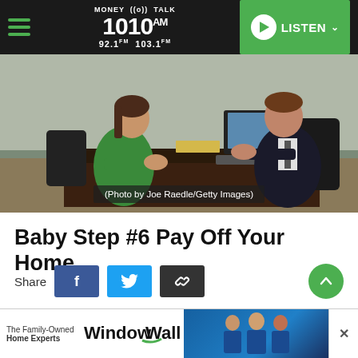MONEY TALK 1010 AM 92.1 FM 103.1 FM — LISTEN
[Figure (photo): Two people sitting across a desk in an office meeting, woman in green top on left, man in dark suit on right with computer monitor in background. Photo credit: Joe Raedle/Getty Images]
(Photo by Joe Raedle/Getty Images)
Baby Step #6 Pay Off Your Home
Share
Now, bring it all home. Baby Step 6 is the big dog! Your mortgage is the only thing between
[Figure (photo): WindowWall advertisement banner — The Family-Owned Home Experts WindowWall with three men in blue uniforms]